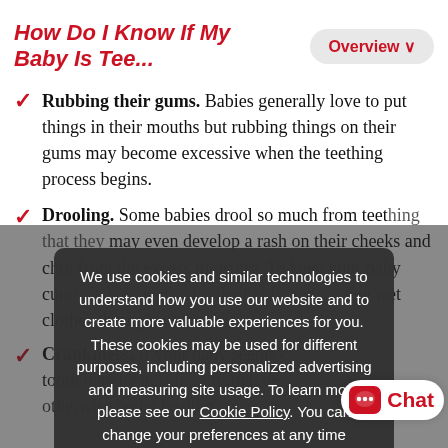How Do I Know If My Baby Is Tee...
Rubbing their gums. Babies generally love to put things in their mouths but rubbing things on their gums may become excessive when the teething process begins.
Drooling. Some babies drool so much from teething that they may even develop a rash on their cheeks and chin from the excess moisture. To keep your baby comfortable, gently dry their chin and change wet clothes throughout the day.
We use cookies and similar technologies to understand how you use our website and to create more valuable experiences for you. These cookies may be used for different purposes, including personalized advertising and measuring site usage. To learn more please see our Cookie Policy. You can change your preferences at any time through our Cookie preferences tool.
Crankiness. If your baby seems c tooth may be pushing through de otherwise being healthy.